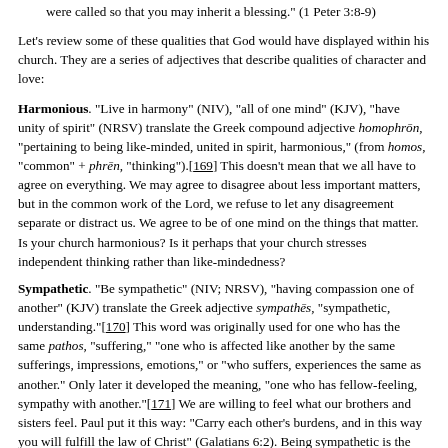were called so that you may inherit a blessing." (1 Peter 3:8-9)
Let's review some of these qualities that God would have displayed within his church. They are a series of adjectives that describe qualities of character and love:
Harmonious. "Live in harmony" (NIV), "all of one mind" (KJV), "have unity of spirit" (NRSV) translate the Greek compound adjective homophron, "pertaining to being like-minded, united in spirit, harmonious," (from homos, "common" + phren, "thinking").[169] This doesn't mean that we all have to agree on everything. We may agree to disagree about less important matters, but in the common work of the Lord, we refuse to let any disagreement separate or distract us. We agree to be of one mind on the things that matter. Is your church harmonious? Is it perhaps that your church stresses independent thinking rather than like-mindedness?
Sympathetic. "Be sympathetic" (NIV; NRSV), "having compassion one of another" (KJV) translate the Greek adjective sympathes, "sympathetic, understanding."[170] This word was originally used for one who has the same pathos, "suffering," "one who is affected like another by the same sufferings, impressions, emotions," or "who suffers, experiences the same as another." Only later it developed the meaning, "one who has fellow-feeling, sympathy with another."[171] We are willing to feel what our brothers and sisters feel. Paul put it this way: "Carry each other's burdens, and in this way you will fulfill the law of Christ" (Galatians 6:2). Being sympathetic is the opposite of selfishness and self-centeredness.